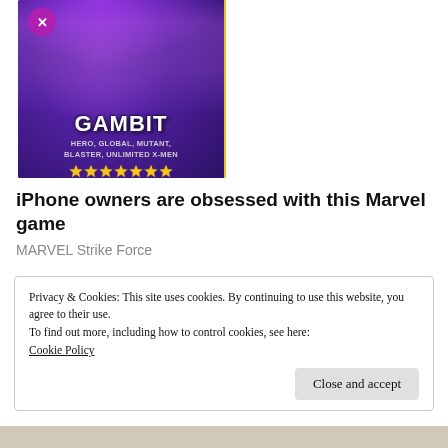[Figure (illustration): Marvel Strike Force game advertisement showing Gambit and Rogue characters side by side. Gambit on left with purple background, tagged HERO, GLOBAL, MUTANT, BLASTER, UNLIMITED X-MEN with 7 gold stars. Rogue on right with green background, tagged HERO, GLOBAL, MUTANT, PROTECTOR, UNLIMITED X-MEN with 8 gold stars.]
iPhone owners are obsessed with this Marvel game
MARVEL Strike Force
Privacy & Cookies: This site uses cookies. By continuing to use this website, you agree to their use.
To find out more, including how to control cookies, see here:
Cookie Policy
Close and accept